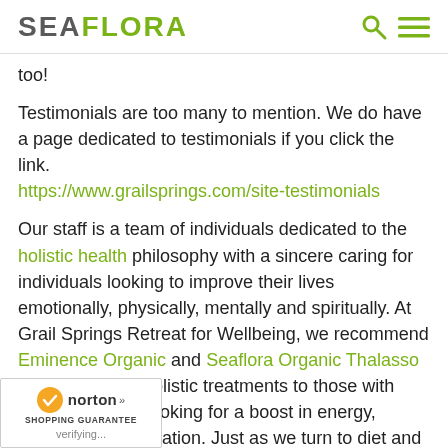SEAFLORA
too!
Testimonials are too many to mention. We do have a page dedicated to testimonials if you click the link. https://www.grailsprings.com/site-testimonials
Our staff is a team of individuals dedicated to the holistic health philosophy with a sincere caring for individuals looking to improve their lives emotionally, physically, mentally and spiritually. At Grail Springs Retreat for Wellbeing, we recommend Eminence Organic and Seaflora Organic Thalasso Skincare in our holistic treatments to those with skin conditions, looking for a boost in energy, nourishment, hydration. Just as we turn to diet and exercise for physical health, people to turn to thalassotherapy for optimal health and youthful longevity.
[Figure (logo): Norton Shopping Guarantee badge with checkmark, verifying...]